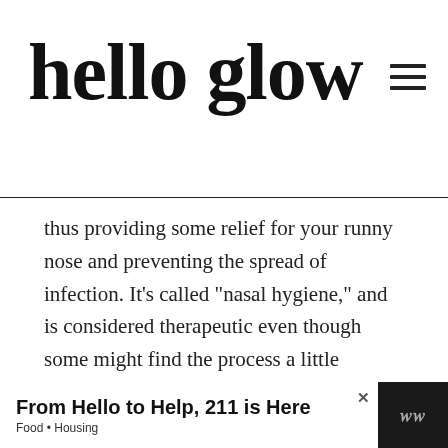hello glow
thus providing some relief for your runny nose and preventing the spread of infection. It’s called “nasal hygiene,” and is considered therapeutic even though some might find the process a little daunting at first. But it does really work!
[Figure (other): Pink advertisement banner with close (x) button]
[Figure (other): Bottom advertisement bar: 'From Hello to Help, 211 is Here' with subtitle 'Food • Housing', dark background, white ad panel, close button, and logo]